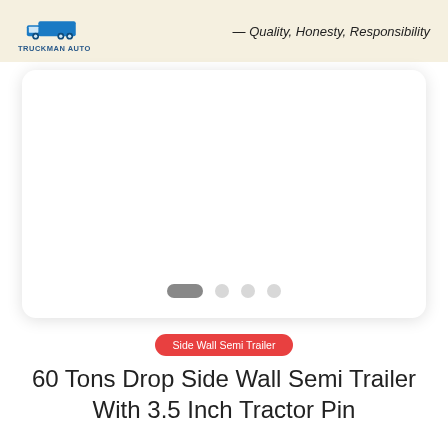TRUCKMAN AUTO — Quality, Honesty, Responsibility
[Figure (photo): Image carousel placeholder with white card background and rounded corners, showing carousel navigation dots (one active dark pill, three inactive grey circles) at the bottom.]
Side Wall Semi Trailer
60 Tons Drop Side Wall Semi Trailer With 3.5 Inch Tractor Pin